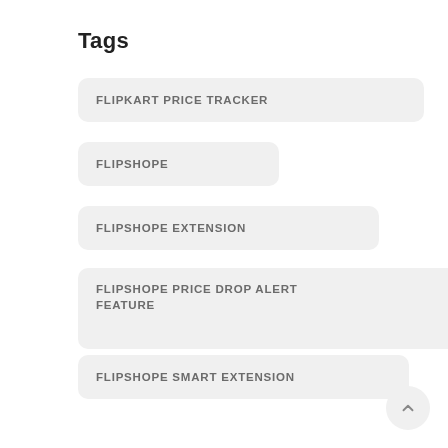Tags
FLIPKART PRICE TRACKER
FLIPSHOPE
FLIPSHOPE EXTENSION
FLIPSHOPE PRICE DROP ALERT FEATURE
FLIPSHOPE SMART EXTENSION
HOW TO AUTO-BUY INFINIX HOT 9 PRO
HOW TO BUY POCO M2 PRO IN NEXT SALE